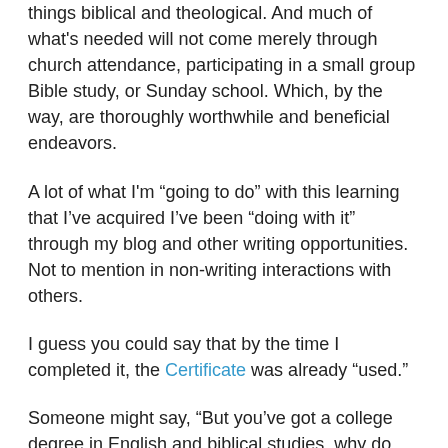things biblical and theological. And much of what's needed will not come merely through church attendance, participating in a small group Bible study, or Sunday school. Which, by the way, are thoroughly worthwhile and beneficial endeavors.
A lot of what I'm “going to do” with this learning that I’ve acquired I’ve been “doing with it” through my blog and other writing opportunities. Not to mention in non-writing interactions with others.
I guess you could say that by the time I completed it, the Certificate was already “used.”
Someone might say, “But you’ve got a college degree in English and biblical studies, why do you need this?”
Because no skill, talent, or gift is a “once and done” thing. They require ongoing refreshing.
Years ago when I was an editor of a Christian magazine and living near Chicago, Wheaton College offered a series of